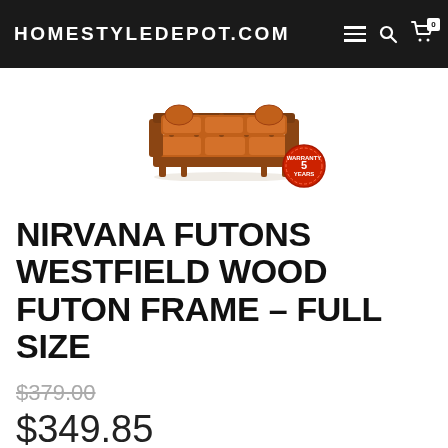HOMESTYLEDEPOT.COM
[Figure (photo): A wood-framed futon sofa with rust/orange cushions, shown in sofa position, with a red '5 Years' warranty badge in the lower right corner of the product image.]
NIRVANA FUTONS WESTFIELD WOOD FUTON FRAME – FULL SIZE
$379.00 (strikethrough original price) $349.85 (sale price)